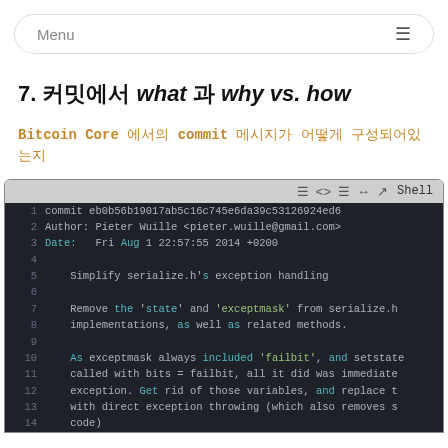Menu
7. 커밋에서 what 과 why vs. how
Bitcoin Core 에서의 commit 메시지가 어떻게 구성되어있는지
[Figure (screenshot): Terminal/shell screenshot showing a git commit from Bitcoin Core. Commit hash eb0b56b19017ab5c16c745e6da39c53126924ed6, Author: Pieter Wuille <pieter.wuille@gmail.com>, Date: Fri Aug 1 22:57:55 2014 +0200. Commit message: 'Simplify serialize.h's exception handling'. Body: Remove the 'state' and 'exceptmask' from serialize.h implementations, as well as related methods. As exceptmask always included 'failbit', and setstate called with bits = failbit, all it did was immediately exception. Get rid of those variables, and replace t with direct exception throwing (which also removes s code).]